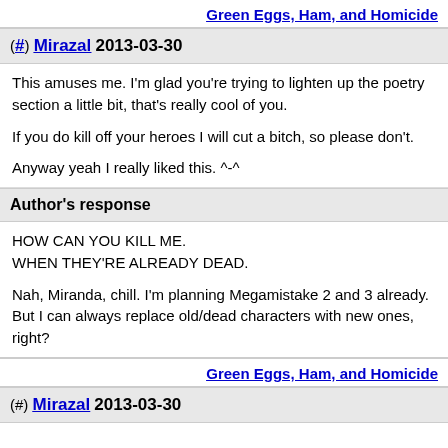Green Eggs, Ham, and Homicide
(#) Mirazal 2013-03-30
This amuses me. I'm glad you're trying to lighten up the poetry section a little bit, that's really cool of you.

If you do kill off your heroes I will cut a bitch, so please don't.

Anyway yeah I really liked this. ^-^
Author's response
HOW CAN YOU KILL ME.
WHEN THEY'RE ALREADY DEAD.

Nah, Miranda, chill. I'm planning Megamistake 2 and 3 already. But I can always replace old/dead characters with new ones, right?
Green Eggs, Ham, and Homicide
(#) Mirazal 2013-03-30
NOOOOOO YOU CAAAAAN'T